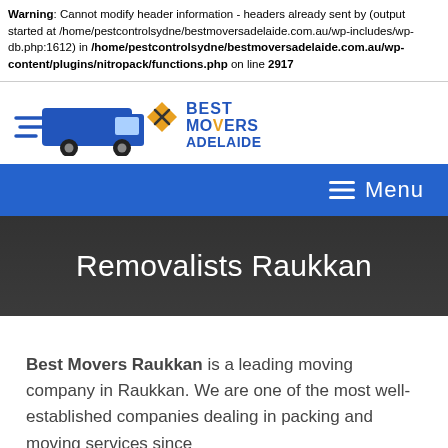Warning: Cannot modify header information - headers already sent by (output started at /home/pestcontrolsydne/bestmoversadelaide.com.au/wp-includes/wp-db.php:1612) in /home/pestcontrolsydne/bestmoversadelaide.com.au/wp-content/plugins/nitropack/functions.php on line 2917
[Figure (logo): Best Movers Adelaide logo with blue delivery van and orange diamond with scissors icon]
≡ Menu
Removalists Raukkan
Best Movers Raukkan is a leading moving company in Raukkan. We are one of the most well-established companies dealing in packing and moving services since